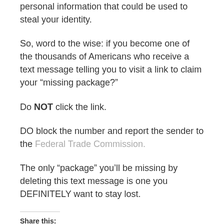personal information that could be used to steal your identity.
So, word to the wise: if you become one of the thousands of Americans who receive a text message telling you to visit a link to claim your “missing package?”
Do NOT click the link.
DO block the number and report the sender to the Federal Trade Commission.
The only “package” you’ll be missing by deleting this text message is one you DEFINITELY want to stay lost.
Share this: